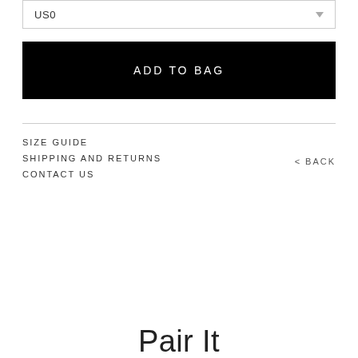US0
ADD TO BAG
SIZE GUIDE
SHIPPING AND RETURNS
CONTACT US
< BACK
Pair It